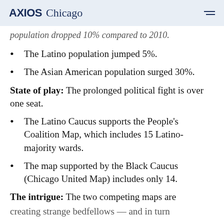AXIOS Chicago
population dropped 10% compared to 2010.
The Latino population jumped 5%.
The Asian American population surged 30%.
State of play: The prolonged political fight is over one seat.
The Latino Caucus supports the People's Coalition Map, which includes 15 Latino-majority wards.
The map supported by the Black Caucus (Chicago United Map) includes only 14.
The intrigue: The two competing maps are creating strange bedfellows — and in turn